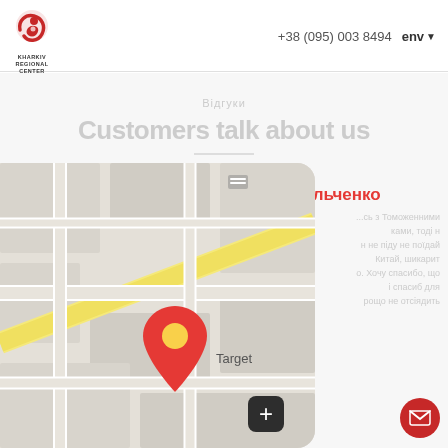[Figure (logo): Kharkiv Regional Center logo: red swirl/mother-child emblem with text below]
+38 (095) 003 8494   env
Reviews
Customers talk about us
Анна Васильченко
...сь з Томоженними ками, тоді н не піду не поїдай Китай, шикарит о. Хочу спасибо, що і спасиб для... рощо не отсіядить
[Figure (map): Google Maps style street map with red location pin labeled 'Target' and a zoom-in (+) button]